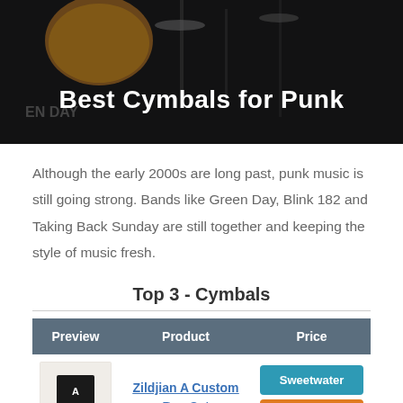[Figure (photo): Dark background photo of a drum set on stage with 'Best Cymbals for Punk' text overlay]
Although the early 2000s are long past, punk music is still going strong. Bands like Green Day, Blink 182 and Taking Back Sunday are still together and keeping the style of music fresh.
Top 3 - Cymbals
| Preview | Product | Price |
| --- | --- | --- |
| [Zildjian A Custom Box Set product image] | Zildjian A Custom Box Set | Sweetwater / Amazon |